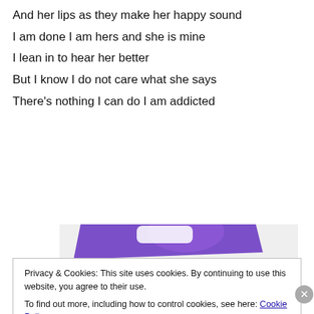And her lips as they make her happy sound
I am done I am hers and she is mine
I lean in to hear her better
But I know I do not care what she says
There's nothing I can do I am addicted
[Figure (illustration): Advertisement image with purple and teal geometric shapes on a light gray background, text reads 'How to start selling subscriptions online']
Privacy & Cookies: This site uses cookies. By continuing to use this website, you agree to their use.
To find out more, including how to control cookies, see here: Cookie Policy